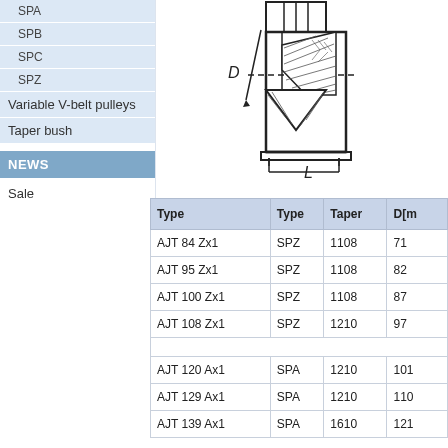SPA
SPB
SPC
SPZ
Variable V-belt pulleys
Taper bush
NEWS
Sale
[Figure (engineering-diagram): Cross-section engineering diagram of a taper bush V-belt pulley assembly, showing dimensions D (diameter, horizontal dashed line) and L (length, vertical dimension). The diagram shows the internal taper and groove profile with hatching patterns.]
| Type | Type | Taper | D[mm] |
| --- | --- | --- | --- |
| AJT 84 Zx1 | SPZ | 1108 | 71 |
| AJT 95 Zx1 | SPZ | 1108 | 82 |
| AJT 100 Zx1 | SPZ | 1108 | 87 |
| AJT 108 Zx1 | SPZ | 1210 | 97 |
| AJT 120 Ax1 | SPA | 1210 | 101 |
| AJT 129 Ax1 | SPA | 1210 | 110 |
| AJT 139 Ax1 | SPA | 1610 | 121 |